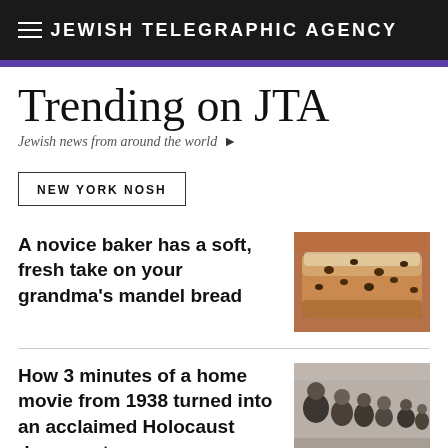JEWISH TELEGRAPHIC AGENCY
Trending on JTA
Jewish news from around the world ▶
NEW YORK NOSH
A novice baker has a soft, fresh take on your grandma's mandel bread
[Figure (photo): Close-up photo of mandel bread (Jewish biscotti-style cookies) with chocolate chips, dusted with powdered sugar]
How 3 minutes of a home movie from 1938 turned into an acclaimed Holocaust documentary
[Figure (photo): Black and white historical photo showing a group of people, appearing to be from the late 1930s era]